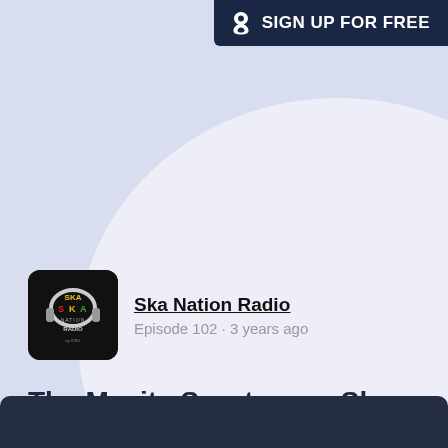SIGN UP FOR FREE
Ska Nation Radio
Episode 102 · 3 years ago
The Masita Sportswear Ska Show with Beefy, Jan 24th 2019